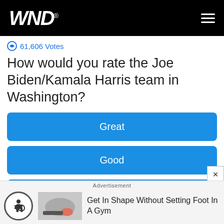WND
61,606 Votes
How would you rate the Joe Biden/Kamala Harris team in Washington?
Great
Good
Bad
Advertisement
Get In Shape Without Setting Foot In A Gym